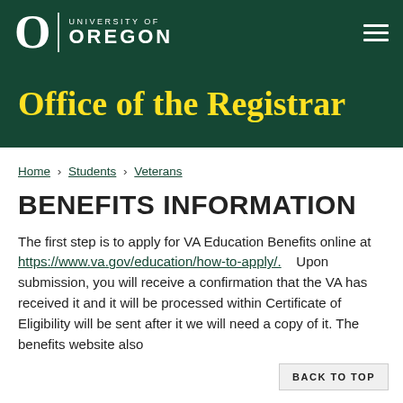University of Oregon | Office of the Registrar
Office of the Registrar
Home › Students › Veterans
BENEFITS INFORMATION
The first step is to apply for VA Education Benefits online at https://www.va.gov/education/how-to-apply/.    Upon submission, you will receive a confirmation that the VA has received it and it will be processed within  Certificate of Eligibility will be sent after it  we will need a copy of it. The benefits website also